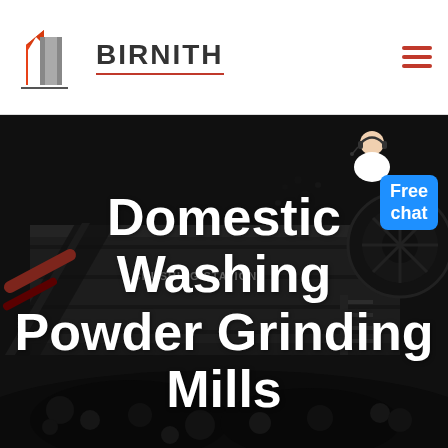BIRNITH
[Figure (photo): Industrial crushing station machinery with large conveyor and coal/ore pile in dark monochrome style. Text 'CRUSHING STATION' visible on machine.]
Domestic Washing Powder Grinding Mills